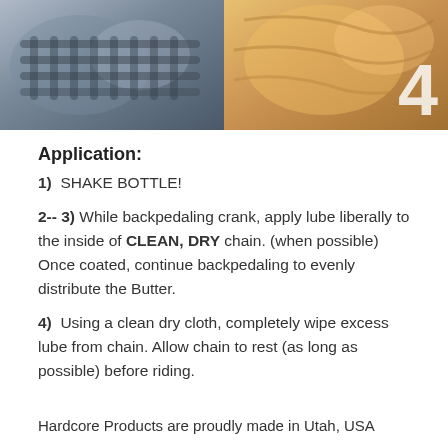[Figure (photo): Two-panel banner image: left panel shows a bicycle chain close-up in blue-grey tones, right panel shows a cloth/rag in orange/golden tones. A large '4' numeral overlays the right side.]
Application:
1)  SHAKE BOTTLE!
2-- 3) While backpedaling crank, apply lube liberally to the inside of CLEAN, DRY chain. (when possible) Once coated, continue backpedaling to evenly distribute the Butter.
4)  Using a clean dry cloth, completely wipe excess lube from chain. Allow chain to rest (as long as possible) before riding.
Hardcore Products are proudly made in Utah, USA